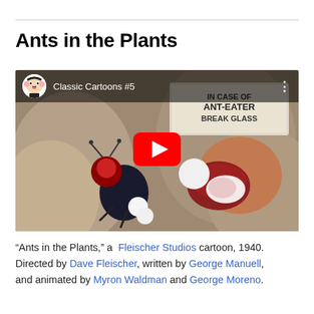Ants in the Plants
[Figure (screenshot): YouTube video thumbnail showing a Classic Cartoons #5 video of 'Ants in the Plants' with a cartoon ant and ant-eater scene. A red YouTube play button is visible in the center. The top bar shows a Betty Boop avatar and the channel name 'Classic Cartoons #5'.]
“Ants in the Plants,” a Fleischer Studios cartoon, 1940. Directed by Dave Fleischer, written by George Manuell, and animated by Myron Waldman and George Moreno.